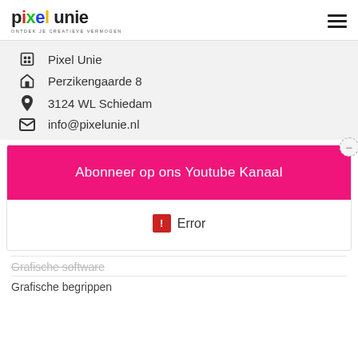[Figure (logo): Pixel Unie logo with tagline 'ONTDEK JE CREATIEVE VERMOGEN']
Pixel Unie
Perzikengaarde 8
3124 WL Schiedam
info@pixelunie.nl
[Figure (screenshot): Pink banner with text 'Abonneer op ons Youtube Kanaal' and an error icon below]
Grafische software
Grafische begrippen